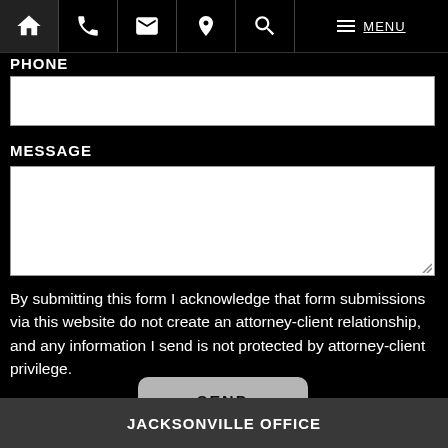Navigation bar with icons: home, phone, email, location, search, menu
PHONE
[Figure (screenshot): Empty white phone input text field]
MESSAGE
[Figure (screenshot): Empty white message textarea input field]
By submitting this form I acknowledge that form submissions via this website do not create an attorney-client relationship, and any information I send is not protected by attorney-client privilege.
SEND
JACKSONVILLE OFFICE